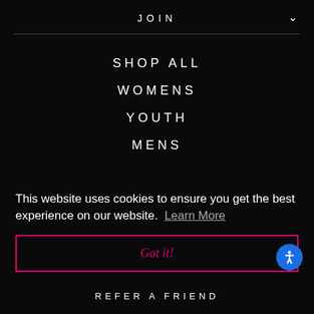JOIN
SHOP ALL
WOMENS
YOUTH
MENS
This website uses cookies to ensure you get the best experience on our website.  Learn More
Got it!
REFER A FRIEND